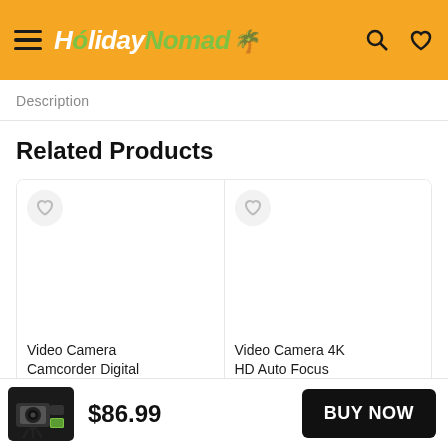HolidayNomad
Description
Related Products
Video Camera Camcorder Digital
Video Camera 4K HD Auto Focus
$86.99
BUY NOW